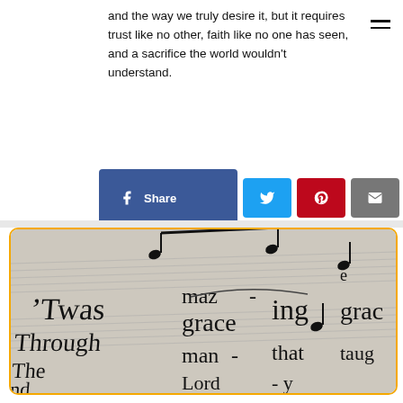and the way we truly desire it, but it requires trust like no other, faith like no one has seen, and a sacrifice the world wouldn't understand.
[Figure (infographic): Social share buttons row: Facebook Share (blue), Twitter (light blue), Pinterest (red), Email (gray), SMS (yellow/orange)]
[Figure (photo): Close-up photo of sheet music showing 'Twas amazing grace Through man - ing grace that' with musical notes overlay, bordered in yellow/orange]
Amazing Grace, what is the sound?
ESSENTIALS+  ARTICLE